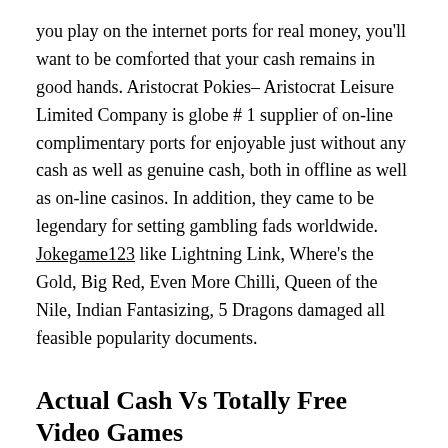you play on the internet ports for real money, you'll want to be comforted that your cash remains in good hands. Aristocrat Pokies– Aristocrat Leisure Limited Company is globe # 1 supplier of on-line complimentary ports for enjoyable just without any cash as well as genuine cash, both in offline as well as on-line casinos. In addition, they came to be legendary for setting gambling fads worldwide. Jokegame123 like Lightning Link, Where's the Gold, Big Red, Even More Chilli, Queen of the Nile, Indian Fantasizing, 5 Dragons damaged all feasible popularity documents.
Actual Cash Vs Totally Free Video Games
To make certain fair play, just pick ports from